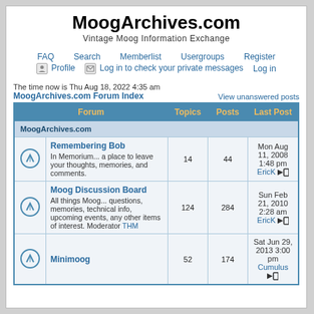MoogArchives.com
Vintage Moog Information Exchange
FAQ  Search  Memberlist  Usergroups  Register  Profile  Log in to check your private messages  Log in
The time now is Thu Aug 18, 2022 4:35 am
MoogArchives.com Forum Index
View unanswered posts
| Forum | Topics | Posts | Last Post |
| --- | --- | --- | --- |
| MoogArchives.com |  |  |  |
| [icon] Remembering Bob
In Memorium... a place to leave your thoughts, memories, and comments. | 14 | 44 | Mon Aug 11, 2008 1:48 pm
EricK → |
| [icon] Moog Discussion Board
All things Moog... questions, memories, technical info, upcoming events, any other items of interest. Moderator THM | 124 | 284 | Sun Feb 21, 2010 2:28 am
EricK → |
| [icon] Minimoog | 52 | 174 | Sat Jun 29, 2013 3:00 pm
Cumulus → |